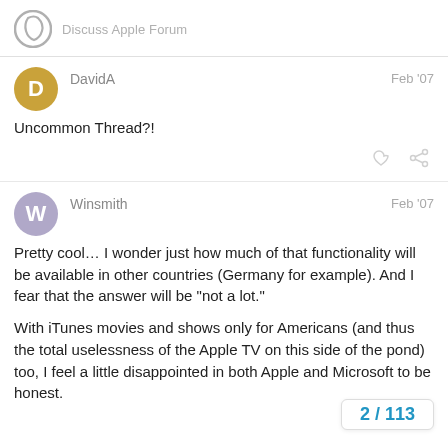Discuss Apple Forum
DavidA — Feb '07
Uncommon Thread?!
Winsmith — Feb '07
Pretty cool… I wonder just how much of that functionality will be available in other countries (Germany for example). And I fear that the answer will be "not a lot."

With iTunes movies and shows only for Americans (and thus the total uselessness of the Apple TV on this side of the pond) too, I feel a little disappointed in both Apple and Microsoft to be honest.
2 / 113